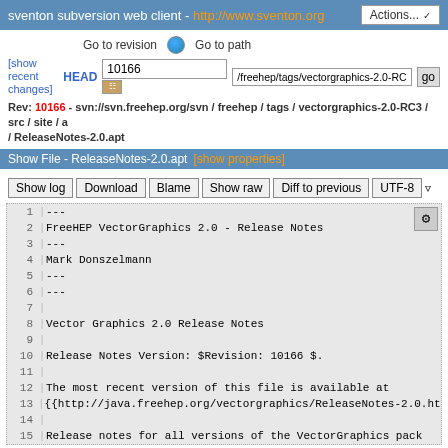sventon subversion web client - http://www.sventon.org  Actions...
Go to revision  Go to path
HEAD  10166  /freehep/tags/vectorgraphics-2.0-RC3/src/site  go
[show recent changes]
Rev: 10166 - svn://svn.freehep.org/svn / freehep / tags / vectorgraphics-2.0-RC3 / src / site / a / ReleaseNotes-2.0.apt
Show File - ReleaseNotes-2.0.apt  [show properties]
Show log  Download  Blame  Show raw  Diff to previous  UTF-8
[Figure (screenshot): Code file viewer showing lines 1-15 of ReleaseNotes-2.0.apt file content in monospace font on gray background]
1   ---
2  FreeHEP VectorGraphics 2.0 - Release Notes
3       ---
4  Mark Donszelmann
5       ---
6       ---
7
8  Vector Graphics 2.0 Release Notes
9
10   Release Notes Version: $Revision: 10166 $.
11
12   The most recent version of this file is available at
13  {{http://java.freehep.org/vectorgraphics/ReleaseNotes-2.0.htm
14
15       Release notes for all versions of the VectorGraphics pack